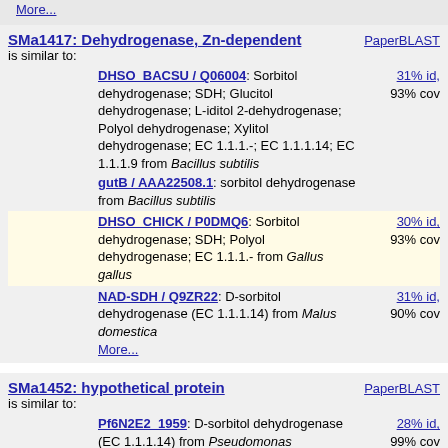More...
SMa1417: Dehydrogenase, Zn-dependent
PaperBLAST
is similar to:
DHSO_BACSU / Q06004: Sorbitol dehydrogenase; SDH; Glucitol dehydrogenase; L-iditol 2-dehydrogenase; Polyol dehydrogenase; Xylitol dehydrogenase; EC 1.1.1.-; EC 1.1.1.14; EC 1.1.9 from Bacillus subtilis
31% id, 93% cov
gutB / AAA22508.1: sorbitol dehydrogenase from Bacillus subtilis
DHSO_CHICK / P0DMQ6: Sorbitol dehydrogenase; SDH; Polyol dehydrogenase; EC 1.1.1.- from Gallus gallus
30% id, 93% cov
NAD-SDH / Q9ZR22: D-sorbitol dehydrogenase (EC 1.1.1.14) from Malus domestica
31% id, 90% cov
More...
SMa1452: hypothetical protein
PaperBLAST
is similar to:
Pf6N2E2_1959: D-sorbitol dehydrogenase (EC 1.1.1.14) from Pseudomonas fluorescens
28% id, 99% cov